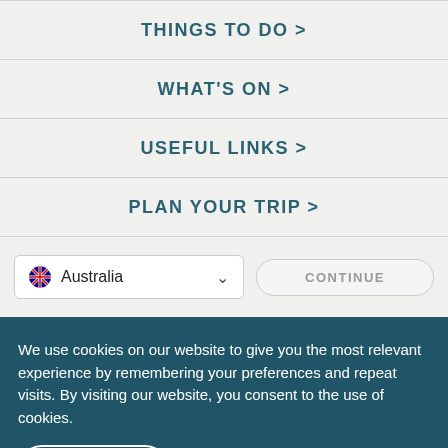THINGS TO DO >
WHAT'S ON >
USEFUL LINKS >
PLAN YOUR TRIP >
Australia (dropdown) CONTINUE
We use cookies on our website to give you the most relevant experience by remembering your preferences and repeat visits. By visiting our website, you consent to the use of cookies.
Accept All